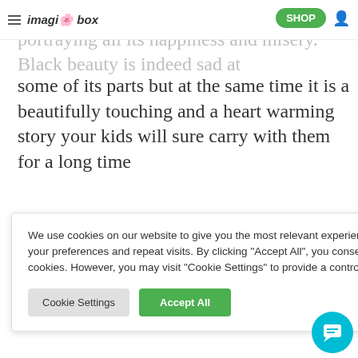imagibox — SHOP
an adventure through the horse's life portraying all its happiness and misery. Black beauty is indeed sad at some of its parts but at the same time it is a beautifully touching and a heart warming story your kids will sure carry with them for a long time
2. The Adventures of Tom Finn
We use cookies on our website to give you the most relevant experience by remembering your preferences and repeat visits. By clicking "Accept All", you consent to the use of ALL the cookies. However, you may visit "Cookie Settings" to provide a controlled consent.
Cookie Settings | Accept All